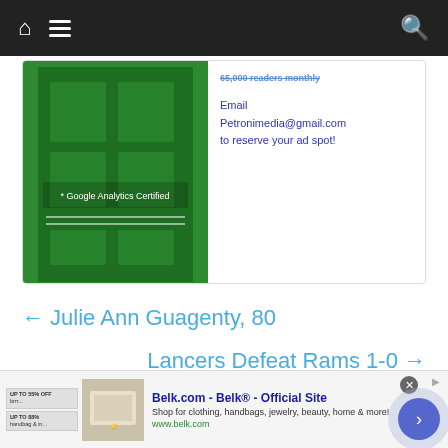Navigation bar with home icon, hamburger menu, and search icon
[Figure (infographic): Green door advertisement image with text '* Google Analytics Certified' and ad copy: '65,000 readers monthly. Email Petronimedia@gmail.com to reserve your ad spot!']
← Julie Ann Guagenty, 80
Lancers Defeat Rams 1-0 →
editor
[Figure (screenshot): Bottom advertisement for Belk.com - Belk® - Official Site. 'Shop for clothing, handbags, jewelry, beauty, home & more! www.belk.com']